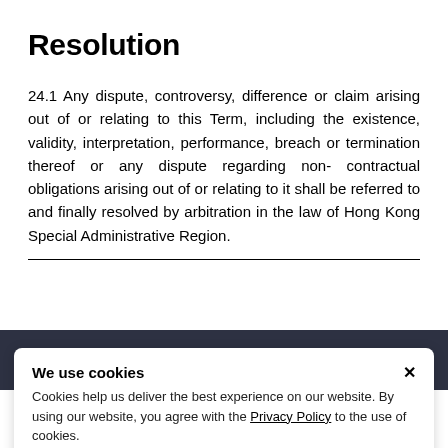Resolution
24.1 Any dispute, controversy, difference or claim arising out of or relating to this Term, including the existence, validity, interpretation, performance, breach or termination thereof or any dispute regarding non- contractual obligations arising out of or relating to it shall be referred to and finally resolved by arbitration in the law of Hong Kong Special Administrative Region.
We use cookies
Cookies help us deliver the best experience on our website. By using our website, you agree with the Privacy Policy to the use of cookies.